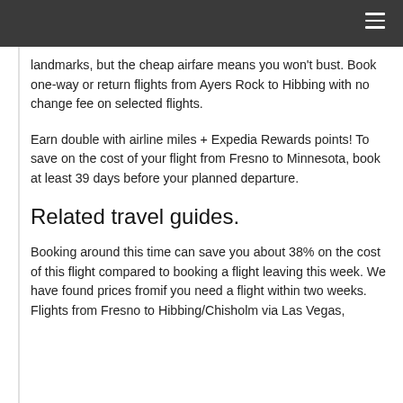landmarks, but the cheap airfare means you won't bust. Book one-way or return flights from Ayers Rock to Hibbing with no change fee on selected flights.
Earn double with airline miles + Expedia Rewards points! To save on the cost of your flight from Fresno to Minnesota, book at least 39 days before your planned departure.
Related travel guides.
Booking around this time can save you about 38% on the cost of this flight compared to booking a flight leaving this week. We have found prices fromif you need a flight within two weeks. Flights from Fresno to Hibbing/Chisholm via Las Vegas,